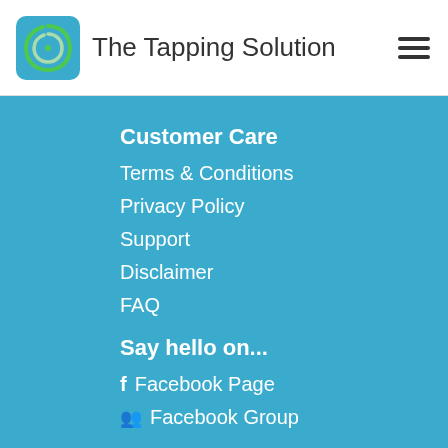The Tapping Solution
Customer Care
Terms & Conditions
Privacy Policy
Support
Disclaimer
FAQ
Say hello on...
Facebook Page
Facebook Group